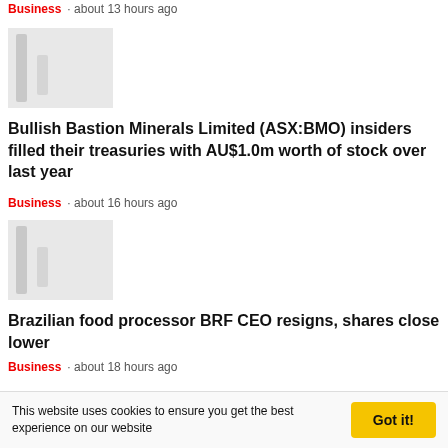Business · about 13 hours ago
[Figure (photo): Blurred/redacted image placeholder for first news article]
Bullish Bastion Minerals Limited (ASX:BMO) insiders filled their treasuries with AU$1.0m worth of stock over last year
Business · about 16 hours ago
[Figure (photo): Blurred/redacted image placeholder for second news article]
Brazilian food processor BRF CEO resigns, shares close lower
Business · about 18 hours ago
This website uses cookies to ensure you get the best experience on our website